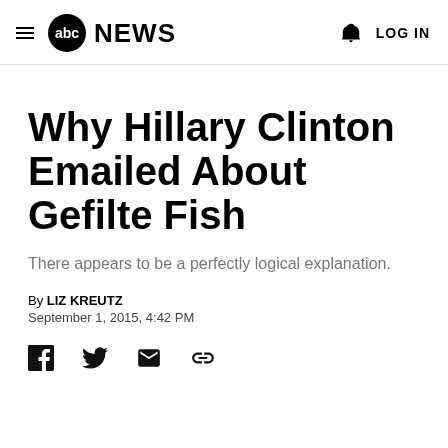abc NEWS  LOG IN
Why Hillary Clinton Emailed About Gefilte Fish
There appears to be a perfectly logical explanation.
By LIZ KREUTZ
September 1, 2015, 4:42 PM